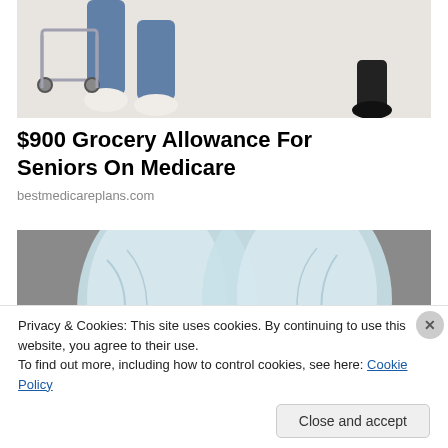[Figure (photo): Partial view of a person's legs and feet near a luggage cart, wearing jeans and white sneakers on a light floor.]
$900 Grocery Allowance For Seniors On Medicare
bestmedicareplans.com
[Figure (photo): Person wearing white angel wings costume seen from behind, with brown hair visible, against a gray background.]
Privacy & Cookies: This site uses cookies. By continuing to use this website, you agree to their use.
To find out more, including how to control cookies, see here: Cookie Policy
Close and accept